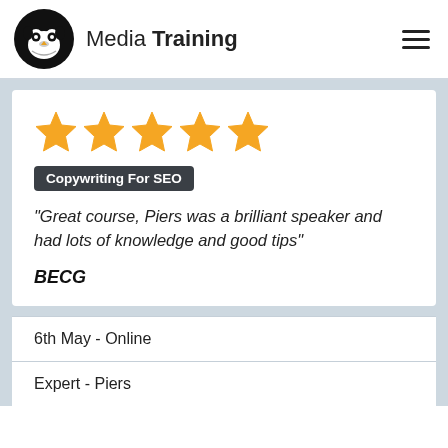Media Training
[Figure (other): Five gold star rating icons]
Copywriting For SEO
"Great course, Piers was a brilliant speaker and had lots of knowledge and good tips"
BECG
6th May - Online
Expert - Piers